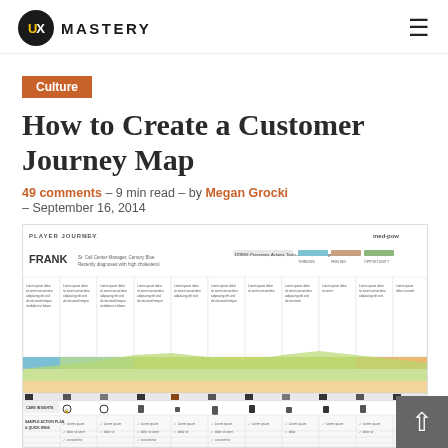UX MASTERY
Culture
How to Create a Customer Journey Map
49 comments – 9 min read – by Megan Grocki – September 16, 2014
[Figure (infographic): Player Journey Map infographic showing Frank's customer journey map with multiple stages, touchpoints, emotions, and actions across different phases. The map includes colored bands for phases, icons for touchpoints, and various annotations.]